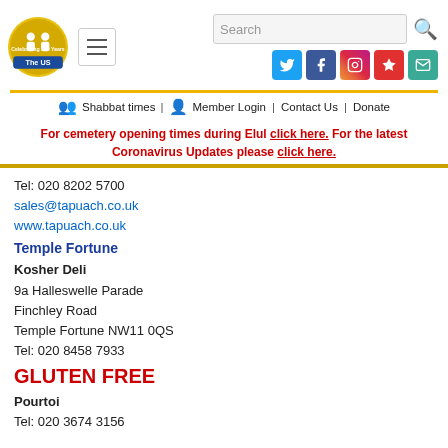[Figure (logo): The US synagogue logo - gold circle with figures, 'Celebrating 150 Years' and 'The US' text]
Search | Social icons: Twitter, Facebook, Instagram, Star, Mail
Shabbat times | Member Login | Contact Us | Donate
For cemetery opening times during Elul click here. For the latest Coronavirus Updates please click here.
Tel: 020 8202 5700
sales@tapuach.co.uk
www.tapuach.co.uk
Temple Fortune
Kosher Deli
9a Halleswelle Parade
Finchley Road
Temple Fortune NW11 0QS
Tel: 020 8458 7933
GLUTEN FREE
Pourtoi
Tel: 020 3674 3156